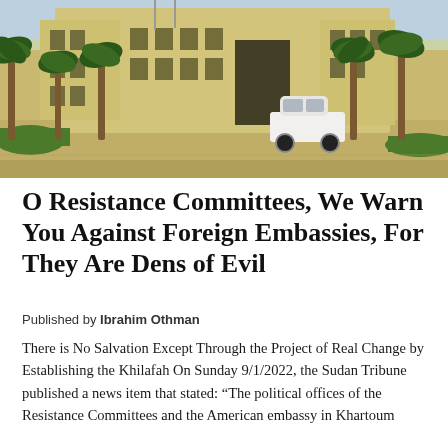[Figure (photo): Exterior photo of a large tan/beige embassy building with palm trees in front, a white SUV parked nearby, and a wide sandy road in the foreground. Blue-gray sky visible above.]
O Resistance Committees, We Warn You Against Foreign Embassies, For They Are Dens of Evil
Published by Ibrahim Othman
There is No Salvation Except Through the Project of Real Change by Establishing the Khilafah On Sunday 9/1/2022, the Sudan Tribune published a news item that stated: “The political offices of the Resistance Committees and the American embassy in Khartoum